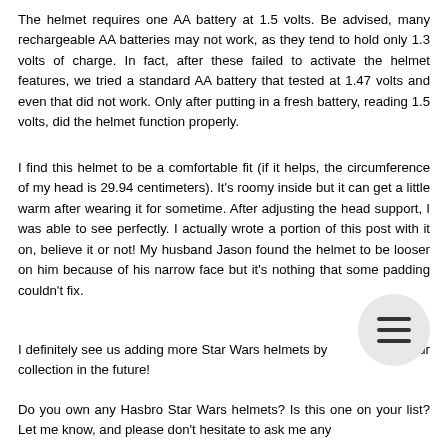The helmet requires one AA battery at 1.5 volts. Be advised, many rechargeable AA batteries may not work, as they tend to hold only 1.3 volts of charge. In fact, after these failed to activate the helmet features, we tried a standard AA battery that tested at 1.47 volts and even that did not work. Only after putting in a fresh battery, reading 1.5 volts, did the helmet function properly.
I find this helmet to be a comfortable fit (if it helps, the circumference of my head is 29.94 centimeters). It's roomy inside but it can get a little warm after wearing it for sometime. After adjusting the head support, I was able to see perfectly. I actually wrote a portion of this post with it on, believe it or not! My husband Jason found the helmet to be looser on him because of his narrow face but it's nothing that some padding couldn't fix.
I definitely see us adding more Star Wars helmets by [menu] to our collection in the future!
Do you own any Hasbro Star Wars helmets? Is this one on your list? Let me know, and please don't hesitate to ask me any